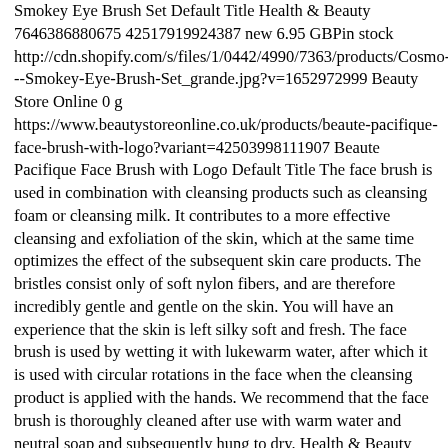Smokey Eye Brush Set Default Title Health & Beauty 7646386880675 42517919924387 new 6.95 GBPin stock http://cdn.shopify.com/s/files/1/0442/4990/7363/products/Cosmo---Smokey-Eye-Brush-Set_grande.jpg?v=1652972999 Beauty Store Online 0 g https://www.beautystoreonline.co.uk/products/beaute-pacifique-face-brush-with-logo?variant=42503998111907 Beaute Pacifique Face Brush with Logo Default Title The face brush is used in combination with cleansing products such as cleansing foam or cleansing milk. It contributes to a more effective cleansing and exfoliation of the skin, which at the same time optimizes the effect of the subsequent skin care products. The bristles consist only of soft nylon fibers, and are therefore incredibly gentle and gentle on the skin. You will have an experience that the skin is left silky soft and fresh. The face brush is used by wetting it with lukewarm water, after which it is used with circular rotations in the face when the cleansing product is applied with the hands. We recommend that the face brush is thoroughly cleaned after use with warm water and neutral soap and subsequently hung to dry. Health & Beauty 7637261975715 42503998111907 new 9.99 GBPin stock http://cdn.shopify.com/s/files/1/0442/4990/7363/products/beaute-pacifique-ansigtsborste-normal-pris-149kr_grande.jpg?v=1652438444 Beaute Pacifique Skin Care 0 g https://www.beautystoreonline.co.uk/products/oral-diet-food-supplement-lozenges-pack-of-3?variant=42496496631971 Oral Diet Food Supplement Lozenges Pack of 3 Default Title Health &